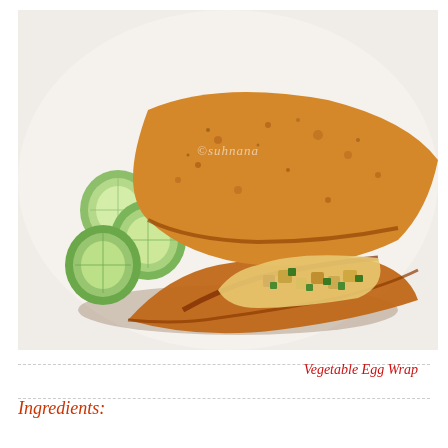[Figure (photo): A vegetable egg wrap (omelette wrap) folded and filled with diced vegetables including green peppers and onions, served on a white plate with sliced cucumbers on the side. Watermark reads ©suhnana.]
Vegetable Egg Wrap
Ingredients: